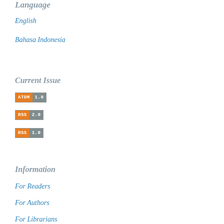Language
English
Bahasa Indonesia
Current Issue
[Figure (other): ATOM 1.0 feed badge - orange left label ATOM, grey right label 1.0]
[Figure (other): RSS 2.0 feed badge - orange left label RSS, grey right label 2.0]
[Figure (other): RSS 1.0 feed badge - orange left label RSS, grey right label 1.0]
Information
For Readers
For Authors
For Librarians